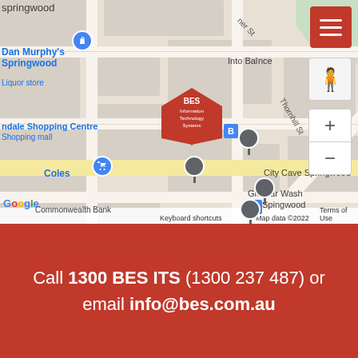[Figure (map): Google Maps screenshot showing Springwood area with BES Information Technology Systems marker, nearby landmarks including Dan Murphy's Springwood, City Cave Springwood, Glo Car Wash Spingwood, Coles, Aloysa House, and street labels including Thornhill St. Map data ©2022.]
Call 1300 BES ITS (1300 237 487) or email info@bes.com.au